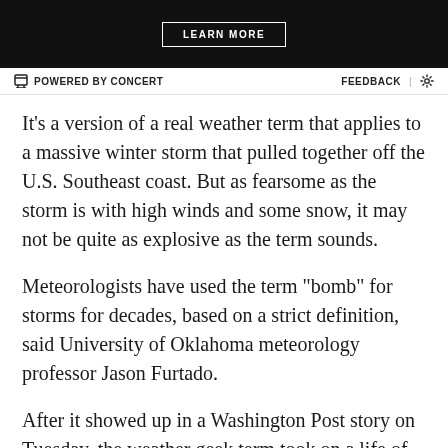[Figure (other): Black advertisement banner with a 'LEARN MORE' button in white outlined rectangle]
⊟ POWERED BY CONCERT    FEEDBACK  |  ⚙
It’s a version of a real weather term that applies to a massive winter storm that pulled together off the U.S. Southeast coast. But as fearsome as the storm is with high winds and some snow, it may not be quite as explosive as the term sounds.
Meteorologists have used the term “bomb” for storms for decades, based on a strict definition, said University of Oklahoma meteorology professor Jason Furtado.
After it showed up in a Washington Post story on Tuesday, the weather geek term took on a life of its own on social media. The same thing happened four years